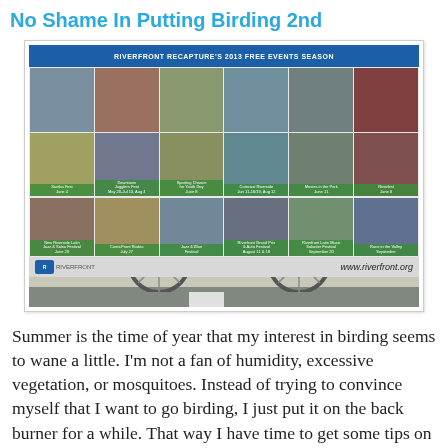No Shame In Putting Birding 2nd
[Figure (photo): Person dressed in red and white costume riding a bicycle with legs kicked out, in front of a Riverfront Recapture's 2013 Free Events Season banner showing a grid of event photos. Website www.riverfront.org visible on banner.]
Summer is the time of year that my interest in birding seems to wane a little. I'm not a fan of humidity, excessive vegetation, or mosquitoes. Instead of trying to convince myself that I want to go birding, I just put it on the back burner for a while. That way I have time to get some tips on how to ride a bicycle